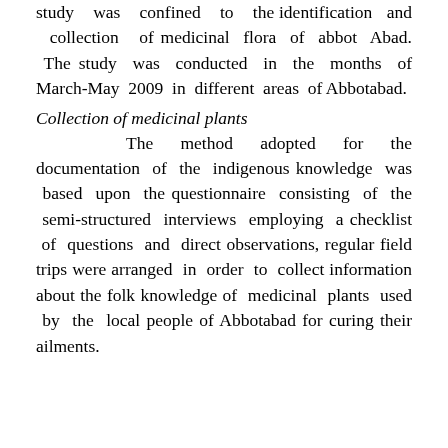study was confined to the identification and collection of medicinal flora of abbot Abad. The study was conducted in the months of March-May 2009 in different areas of Abbotabad.
Collection of medicinal plants
The method adopted for the documentation of the indigenous knowledge was based upon the questionnaire consisting of the semi-structured interviews employing a checklist of questions and direct observations, regular field trips were arranged in order to collect information about the folk knowledge of medicinal plants used by the local people of Abbotabad for curing their ailments.